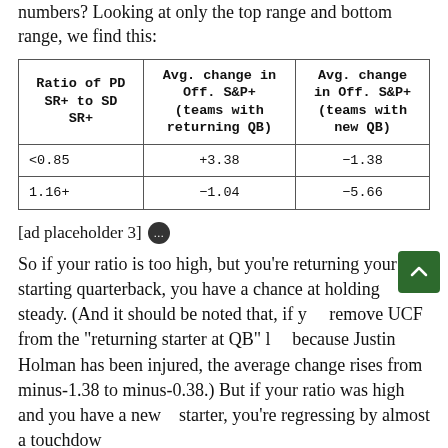numbers? Looking at only the top range and bottom range, we find this:
| Ratio of PD SR+ to SD SR+ | Avg. change in Off. S&P+ (teams with returning QB) | Avg. change in Off. S&P+ (teams with new QB) |
| --- | --- | --- |
| <0.85 | +3.38 | -1.38 |
| 1.16+ | -1.04 | -5.66 |
[ad placeholder 3]
So if your ratio is too high, but you're returning your starting quarterback, you have a chance at holding steady. (And it should be noted that, if you remove UCF from the "returning starter at QB" list because Justin Holman has been injured, the average change rises from minus-1.38 to minus-0.38.) But if your ratio was high and you have a new starter, you're regressing by almost a touchdown...